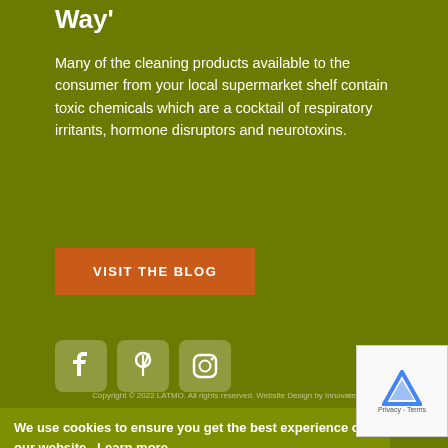Way'
Many of the cleaning products available to the consumer from your local supermarket shelf contain toxic chemicals which are a cocktail of respiratory irritants, hormone disruptors and neurotoxins.
VISIT THE BLOG
[Figure (illustration): Social media icons: Facebook, Pinterest, Instagram]
We use cookies to ensure you get the best experience on our website. Learn more
Got it!
Copyright © 2022 LATMO. All rights reserved. Website Design by Innovate
Terms   Privacy & Cookies   Sitemap